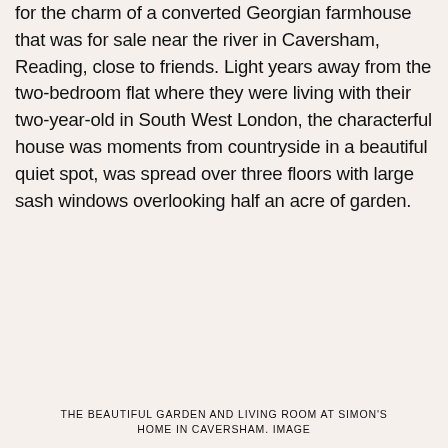for the charm of a converted Georgian farmhouse that was for sale near the river in Caversham, Reading, close to friends. Light years away from the two-bedroom flat where they were living with their two-year-old in South West London, the characterful house was moments from countryside in a beautiful quiet spot, was spread over three floors with large sash windows overlooking half an acre of garden.
THE BEAUTIFUL GARDEN AND LIVING ROOM AT SIMON'S HOME IN CAVERSHAM. IMAGE